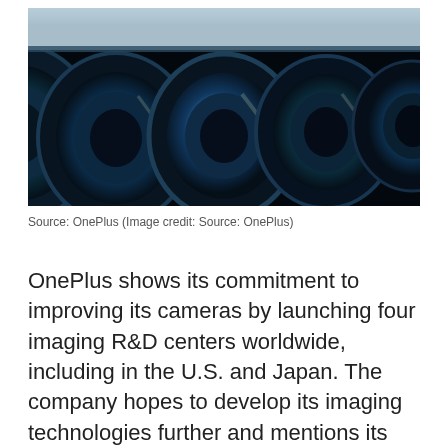[Figure (photo): Close-up photograph of multiple camera lenses arranged in a row, showing circular glass elements with blue and teal reflections against a dark background. Image credit: OnePlus.]
Source: OnePlus (Image credit: Source: OnePlus)
OnePlus shows its commitment to improving its cameras by launching four imaging R&D centers worldwide, including in the U.S. and Japan. The company hopes to develop its imaging technologies further and mentions its working on a 140° panoramic sensor and a selfie camera with T-lens coating for improved focus. The company also announced a freeform lens that will debut on the